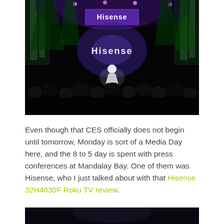[Figure (photo): Dark concert/presentation hall photo showing a presenter on stage with a Hisense logo displayed on a large screen behind them. Green stage lights and audience silhouettes visible.]
Even though that CES officially does not begin until tomorrow, Monday is sort of a Media Day here, and the 8 to 5 day is spent with press conferences at Mandalay Bay. One of them was Hisense, who I just talked about with that Hisense 32H4030F Roku TV review.
[Figure (photo): Partial view of a dark photo at the bottom of the page.]